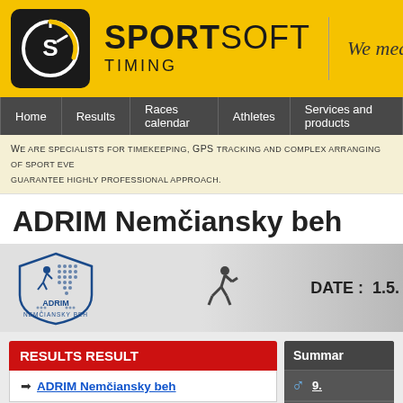[Figure (logo): Sportsoft Timing logo with black rounded square containing S symbol in white on dark background, yellow header bar with brand name SPORTSOFT TIMING and tagline We measure what...]
Home | Results | Races calendar | Athletes | Services and products
We are specialists for timekeeping, GPS tracking and complex arranging of sport events. We guarantee highly professional approach.
ADRIM Nemčiansky beh
[Figure (logo): ADRIM Nemčiansky beh event logo - blue shield shape with running figure and dot matrix pattern, text ADRIM NEMČIANSKY BEH]
DATE : 1.5.
RESULTS RESULT
➜ ADRIM Nemčiansky beh
Summar
| # | Ful |
| --- | --- |